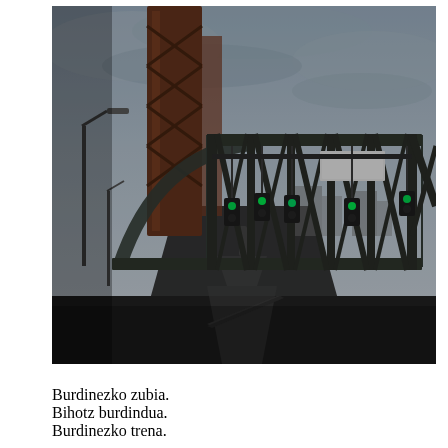[Figure (photo): A photograph taken from a vehicle approaching a steel truss drawbridge. The bridge has a large rust-colored vertical lift tower on the left side. Dark green girders form the truss structure. Green traffic signal lights are visible hanging from the bridge. The road leads through the bridge. Overcast sky in the background.]
Burdinezko zubia.
Bihotz burdindua.
Burdinezko trena.